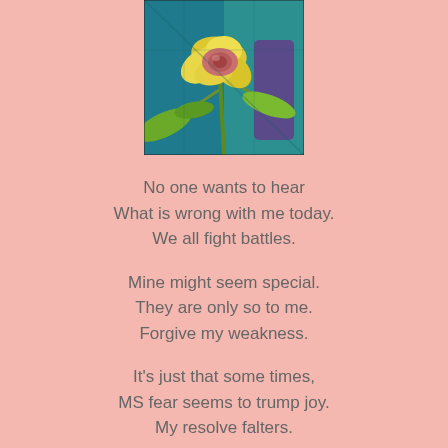[Figure (illustration): A stained-glass style illustration of a yellow and pink flower with green leaves on a teal/blue background.]
No one wants to hear
What is wrong with me today.
We all fight battles.

Mine might seem special.
They are only so to me.
Forgive my weakness.

It's just that some times,
MS fear seems to trump joy.
My resolve falters.